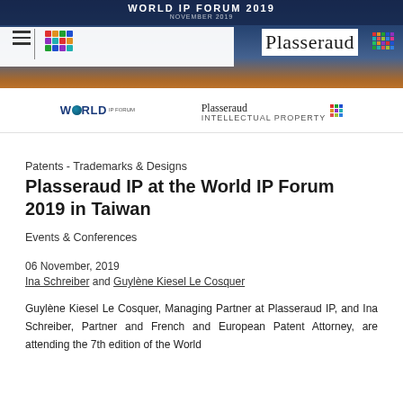[Figure (illustration): World IP Forum 2019 header banner with city skyline, Plasseraud logo, hamburger menu icon, and colorful dot grid logo. Below the banner are the World IP Forum and Plasseraud Intellectual Property logos.]
Patents - Trademarks & Designs
Plasseraud IP at the World IP Forum 2019 in Taiwan
Events & Conferences
06 November, 2019
Ina Schreiber and Guylène Kiesel Le Cosquer
Guylène Kiesel Le Cosquer, Managing Partner at Plasseraud IP, and Ina Schreiber, Partner and French and European Patent Attorney, are attending the 7th edition of the World